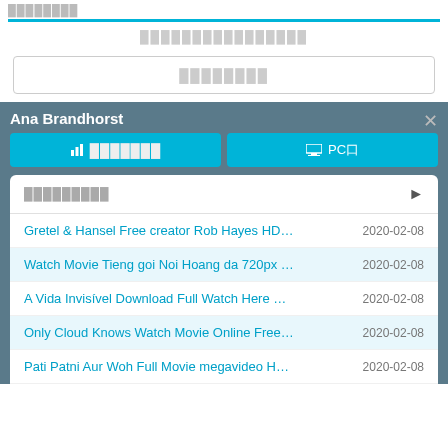████████
████████████████
████████
Ana Brandhorst
████████  PCロ
█████████
Gretel & Hansel Free creator Rob Hayes HD Full M... 2020-02-08
Watch Movie Tieng goi Noi Hoang da 720px Withou... 2020-02-08
A Vida Invis&#237;vel Download Full Watch Here O... 2020-02-08
Only Cloud Knows Watch Movie Online Free imdb tt... 2020-02-08
Pati Patni Aur Woh Full Movie megavideo HD 1080... 2020-02-08